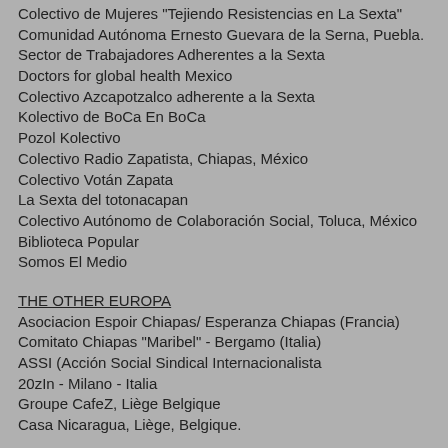Colectivo de Mujeres "Tejiendo Resistencias en La Sexta" Comunidad Autónoma Ernesto Guevara de la Serna, Puebla.
Sector de Trabajadores Adherentes a la Sexta
Doctors for global health Mexico
Colectivo Azcapotzalco adherente a la Sexta
Kolectivo de BoCa En BoCa
Pozol Kolectivo
Colectivo Radio Zapatista, Chiapas, México
Colectivo Votán Zapata
La Sexta del totonacapan
Colectivo Autónomo de Colaboración Social, Toluca, México
Biblioteca Popular
Somos El Medio
THE OTHER EUROPA
Asociacion Espoir Chiapas/ Esperanza Chiapas (Francia)
Comitato Chiapas "Maribel" - Bergamo (Italia)
ASSI (Acción Social Sindical Internacionalista
20zIn - Milano - Italia
Groupe CafeZ, Liège Belgique
Casa Nicaragua, Liège, Belgique.